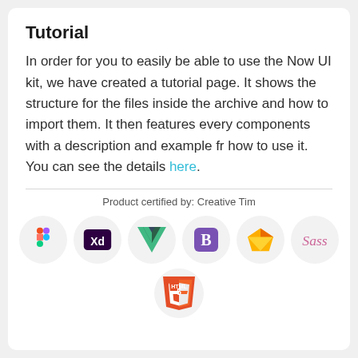Tutorial
In order for you to easily be able to use the Now UI kit, we have created a tutorial page. It shows the structure for the files inside the archive and how to import them. It then features every components with a description and example fr how to use it. You can see the details here.
Product certified by: Creative Tim
[Figure (logo): Row of technology logos: Figma, Adobe XD, Vue.js, Bootstrap (purple), Sketch, Sass, and HTML5]
[Figure (logo): HTML5 logo in orange shield icon]